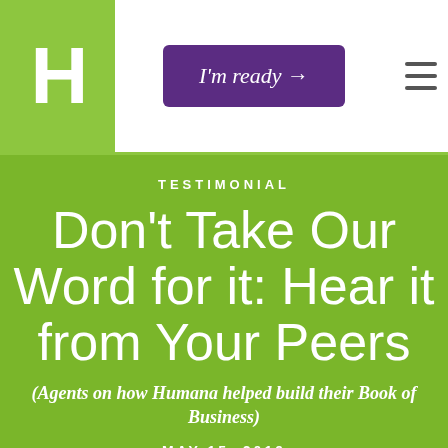H | I'm ready → ≡
TESTIMONIAL
Don't Take Our Word for it: Hear it from Your Peers
(Agents on how Humana helped build their Book of Business)
MAY 15, 2019